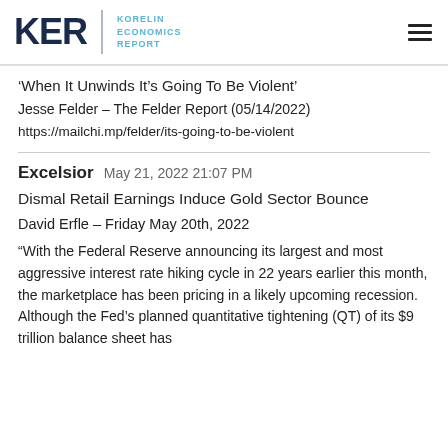KER | KORELIN ECONOMICS REPORT
‘When It Unwinds It’s Going To Be Violent’
Jesse Felder – The Felder Report (05/14/2022)
https://mailchi.mp/felder/its-going-to-be-violent
Excelsior  May 21, 2022 21:07 PM
Dismal Retail Earnings Induce Gold Sector Bounce
David Erfle – Friday May 20th, 2022
“With the Federal Reserve announcing its largest and most aggressive interest rate hiking cycle in 22 years earlier this month, the marketplace has been pricing in a likely upcoming recession. Although the Fed’s planned quantitative tightening (QT) of its $9 trillion balance sheet has